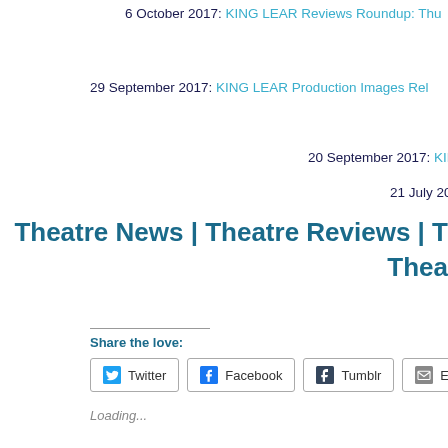6 October 2017: KING LEAR Reviews Roundup: Thu...
29 September 2017: KING LEAR Production Images Rel...
20 September 2017: KING LEAR: Exclu...
21 July 2017: CASTING NEWS:...
Theatre News | Theatre Reviews | T... Thea...
Share the love:
Twitter  Facebook  Tumblr  Email
Loading...